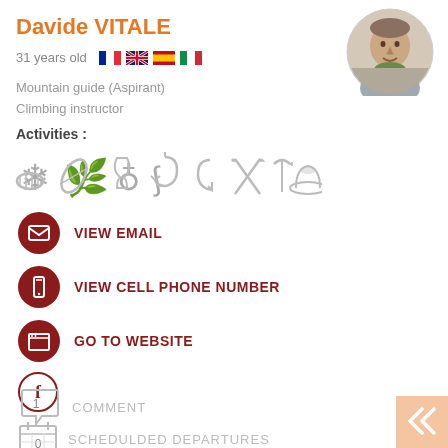Davide VITALE
[Figure (photo): Circular profile photo of Davide Vitale, a man outdoors near rocks, wearing a green neck gaiter, smiling]
31 years old
[Figure (illustration): Row of four country flags: French, British, Spanish, Italian]
Mountain guide (Aspirant)
Climbing instructor
Activities :
[Figure (illustration): Row of activity icons: snowflake/hiking boot, leaf/pill, wine glass, fishhook, curved hook, crossed tools, pick/axe, hat with brim]
VIEW EMAIL
VIEW CELL PHONE NUMBER
GO TO WEBSITE
[Figure (illustration): Facebook icon circle outline with f letter]
1 COMMENT
0 SCHEDULDED DEPARTURES